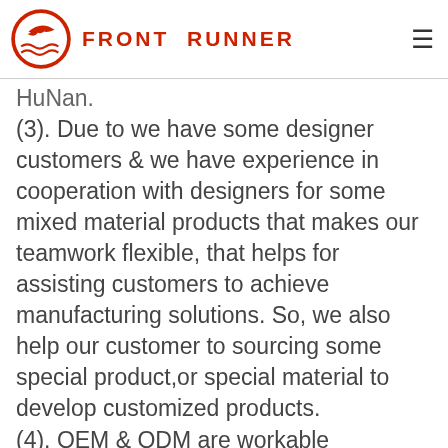FRONT RUNNER
HuNan. (3). Due to we have some designer customers & we have experience in cooperation with designers for some mixed material products that makes our teamwork flexible, that helps for assisting customers to achieve manufacturing solutions. So, we also help our customer to sourcing some special product,or special material to develop customized products. (4). OEM & ODM are workable